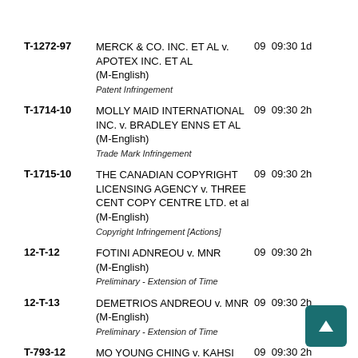T-1272-97 MERCK & CO. INC. ET AL v. APOTEX INC. ET AL (M-English) Patent Infringement 09 09:30 1d
T-1714-10 MOLLY MAID INTERNATIONAL INC. v. BRADLEY ENNS ET AL (M-English) Trade Mark Infringement 09 09:30 2h
T-1715-10 THE CANADIAN COPYRIGHT LICENSING AGENCY v. THREE CENT COPY CENTRE LTD. et al (M-English) Copyright Infringement [Actions] 09 09:30 2h
12-T-12 FOTINI ADNREOU v. MNR (M-English) Preliminary - Extension of Time 09 09:30 2h
12-T-13 DEMETRIOS ANDREOU v. MNR (M-English) Preliminary - Extension of Time 09 09:30 2h
T-793-12 MO YOUNG CHING v. KAHSI MATTU, HMQ ET AL (M-English) Others - not provided for anywhere else [Actions] 09 09:30 2h
IMM-6133-12 LYSTRA THOMAS v. MCI ET AL (M-English) Imm - Appl. for leave & jud. review - Other Arising in Canada 09 09